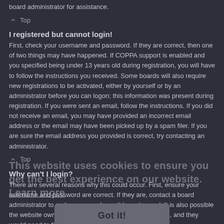board administrator for assistance.
Top
I registered but cannot login!
First, check your username and password. If they are correct, then one of two things may have happened. If COPPA support is enabled and you specified being under 13 years old during registration, you will have to follow the instructions you received. Some boards will also require new registrations to be activated, either by yourself or by an administrator before you can logon; this information was present during registration. If you were sent an email, follow the instructions. If you did not receive an email, you may have provided an incorrect email address or the email may have been picked up by a spam filer. If you are sure the email address you provided is correct, try contacting an administrator.
Top
Why can't I login?
There are several reasons why this could occur. First, ensure your username and password are correct. If they are, contact a board administrator to make sure you haven't been banned. It is also possible the website owner has a configuration error on their end, and they would need to fix it.
Top
I registered in the past but cannot login any more?!
[Figure (other): Cookie consent overlay with text 'This website uses cookies to ensure you get the best experience on our website. Learn more' and a 'Got it!' button]